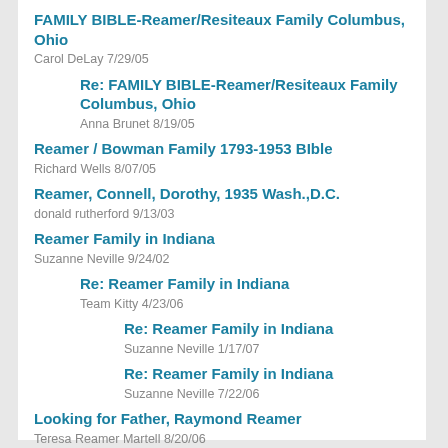FAMILY BIBLE-Reamer/Resiteaux Family Columbus, Ohio
Carol DeLay 7/29/05
Re: FAMILY BIBLE-Reamer/Resiteaux Family Columbus, Ohio
Anna Brunet 8/19/05
Reamer / Bowman Family 1793-1953 BIble
Richard Wells 8/07/05
Reamer, Connell, Dorothy, 1935 Wash.,D.C.
donald rutherford 9/13/03
Reamer Family in Indiana
Suzanne Neville 9/24/02
Re: Reamer Family in Indiana
Team Kitty 4/23/06
Re: Reamer Family in Indiana
Suzanne Neville 1/17/07
Re: Reamer Family in Indiana
Suzanne Neville 7/22/06
Looking for Father, Raymond Reamer
Teresa Reamer Martell 8/20/06
Re: Looking for Father, Raymond Reamer
michelle reamer, ferrell 10/27/09